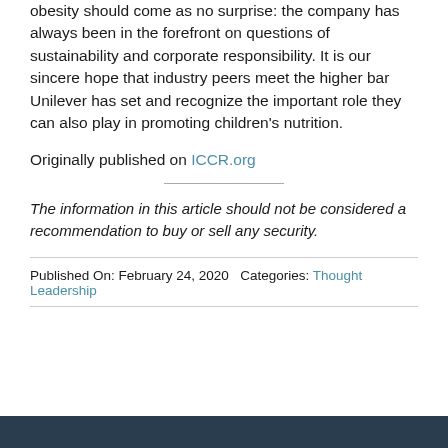That Unilever is leading on the issue of childhood obesity should come as no surprise: the company has always been in the forefront on questions of sustainability and corporate responsibility. It is our sincere hope that industry peers meet the higher bar Unilever has set and recognize the important role they can also play in promoting children's nutrition.
Originally published on ICCR.org
The information in this article should not be considered a recommendation to buy or sell any security.
Published On: February 24, 2020   Categories: Thought Leadership